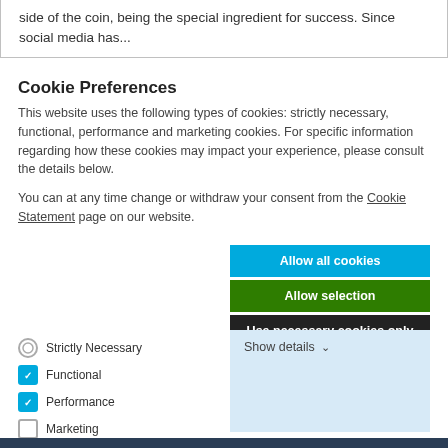side of the coin, being the special ingredient for success. Since social media has...
Cookie Preferences
This website uses the following types of cookies: strictly necessary, functional, performance and marketing cookies. For specific information regarding how these cookies may impact your experience, please consult the details below.
You can at any time change or withdraw your consent from the Cookie Statement page on our website.
Allow all cookies
Allow selection
Use necessary cookies only
Strictly Necessary
Functional
Performance
Marketing
Show details